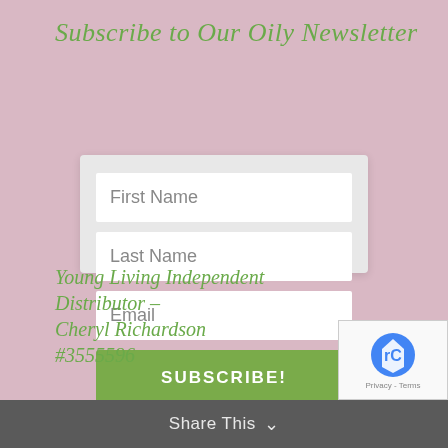Subscribe to Our Oily Newsletter
[Figure (screenshot): Web subscription form with fields for First Name, Last Name, Email, and a green SUBSCRIBE! button, on a light gray card with curved top over a pink background]
Young Living Independent Distributor – Cheryl Richardson #3555596
Share This